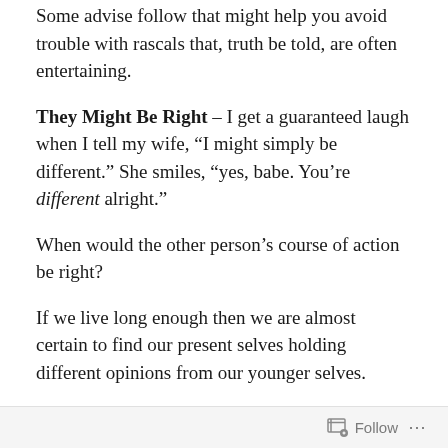Some advise follow that might help you avoid trouble with rascals that, truth be told, are often entertaining.
They Might Be Right – I get a guaranteed laugh when I tell my wife, “I might simply be different.” She smiles, “yes, babe. You’re different alright.”
When would the other person’s course of action be right?
If we live long enough then we are almost certain to find our present selves holding different opinions from our younger selves.
The Message Not The Messenger – we share a curious desire to bring down others and a glee in catching people being naughty. My opinion of a person can prevent me from learning from them.
Follow